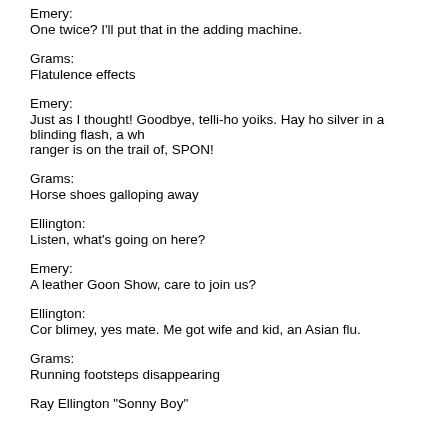Emery:
One twice? I'll put that in the adding machine.
Grams:
Flatulence effects
Emery:
Just as I thought! Goodbye, telli-ho yoiks. Hay ho silver in a blinding flash, a wh ranger is on the trail of, SPON!
Grams:
Horse shoes galloping away
Ellington:
Listen, what's going on here?
Emery:
A leather Goon Show, care to join us?
Ellington:
Cor blimey, yes mate. Me got wife and kid, an Asian flu.
Grams:
Running footsteps disappearing
Ray Ellington  "Sonny Boy"